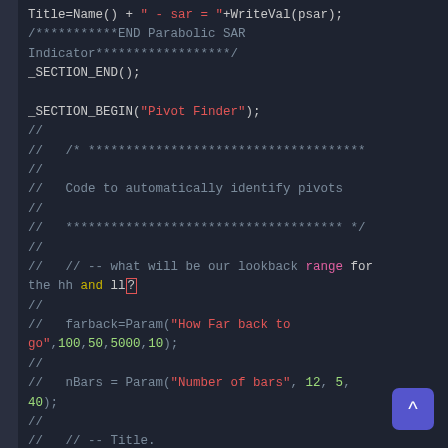[Figure (screenshot): Code editor screenshot showing AmiBroker AFL code for Parabolic SAR and Pivot Finder sections, with syntax highlighting. Dark background with colored syntax: white for normal code, red for strings/keywords, green/yellow for parameters, pink/purple for string literals.]